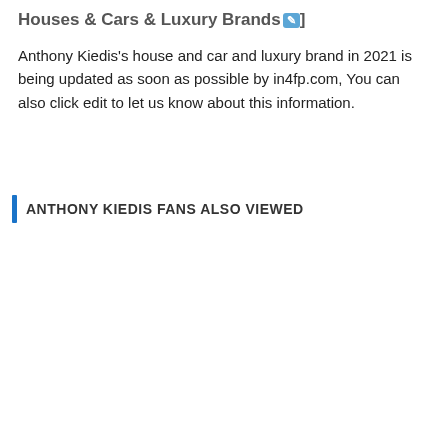Houses & Cars & Luxury Brands[edit]
Anthony Kiedis's house and car and luxury brand in 2021 is being updated as soon as possible by in4fp.com, You can also click edit to let us know about this information.
ANTHONY KIEDIS FANS ALSO VIEWED
[Figure (photo): Photo thumbnails of Chad Smith (drummer) and John Frusciante (guitarist) with an overlay popup showing 'Top Famous People by In4fp' with a READ MORE button and a link to 'Lee Asher - Bio, Age, Wiki, Facts and Family - in4fp.com']